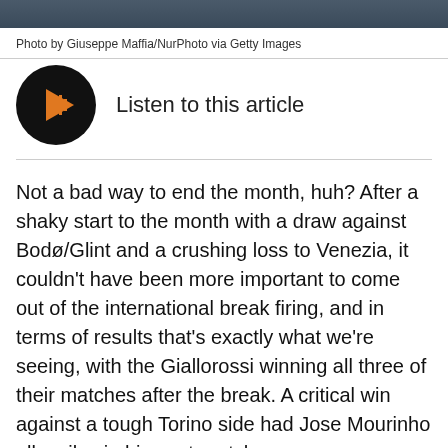[Figure (photo): Dark photo strip at top of page]
Photo by Giuseppe Maffia/NurPhoto via Getty Images
[Figure (other): Audio player icon — black circle with orange play button and orange audio waveform bars]
Listen to this article
Not a bad way to end the month, huh? After a shaky start to the month with a draw against Bodø/Glint and a crushing loss to Venezia, it couldn't have been more important to come out of the international break firing, and in terms of results that's exactly what we're seeing, with the Giallorossi winning all three of their matches after the break. A critical win against a tough Torino side had Jose Mourinho all smiles in his post-match presser.